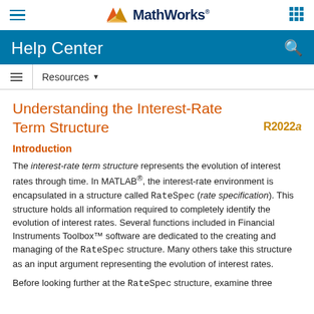MathWorks Help Center
Understanding the Interest-Rate Term Structure
Introduction
The interest-rate term structure represents the evolution of interest rates through time. In MATLAB®, the interest-rate environment is encapsulated in a structure called RateSpec (rate specification). This structure holds all information required to completely identify the evolution of interest rates. Several functions included in Financial Instruments Toolbox™ software are dedicated to the creating and managing of the RateSpec structure. Many others take this structure as an input argument representing the evolution of interest rates.
Before looking further at the RateSpec structure, examine three